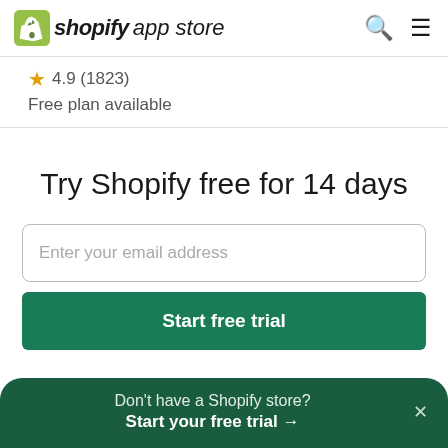shopify app store
4.9 (1823)
Free plan available
Try Shopify free for 14 days
Enter your email address
Start free trial
Don't have a Shopify store? Start your free trial →